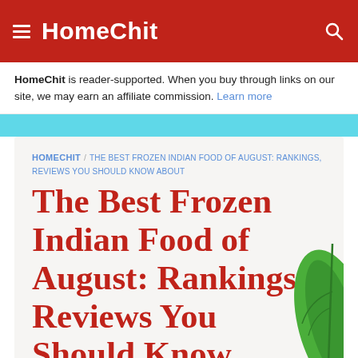HomeChit
HomeChit is reader-supported. When you buy through links on our site, we may earn an affiliate commission. Learn more
HOMECHIT / THE BEST FROZEN INDIAN FOOD OF AUGUST: RANKINGS, REVIEWS YOU SHOULD KNOW ABOUT
The Best Frozen Indian Food of August: Rankings, Reviews You Should Know About